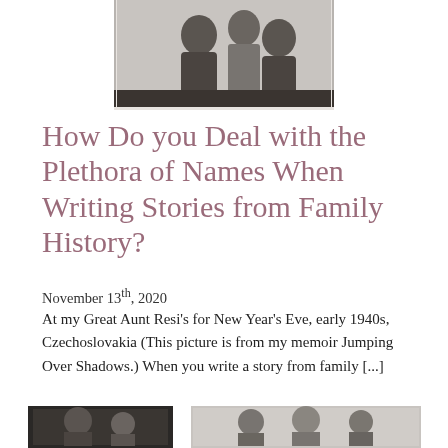[Figure (photo): Black and white photograph of a group of people gathered together, appears to be a family or social gathering, early 1940s Czechoslovakia]
How Do you Deal with the Plethora of Names When Writing Stories from Family History?
November 13th, 2020
At my Great Aunt Resi's for New Year's Eve, early 1940s, Czechoslovakia (This picture is from my memoir Jumping Over Shadows.) When you write a story from family [...]
[Figure (photo): Partial view of two black and white photographs at the bottom of the page]